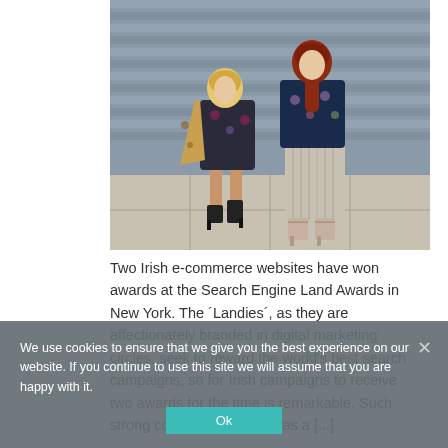[Figure (photo): Two young women in fashionable outfits standing in front of a grey corrugated wall on a paved sidewalk. The woman on the left wears a dark floral dress with a leopard-print coat and black ankle boots. The woman on the right wears a floral bomber jacket with a silver/gold pleated midi skirt and strappy heeled sandals.]
Two Irish e-commerce websites have won awards at the Search Engine Land Awards in New York. The ´Landies´, as they are affectionately branded in digital marketing circles, seek to reward the world's best search campaigns, so for Irish campaigns to receive two awards for the time is remarkable. Such strong competition is seen as a [...]
We use cookies to ensure that we give you the best experience on our website. If you continue to use this site we will assume that you are happy with it.
Ok